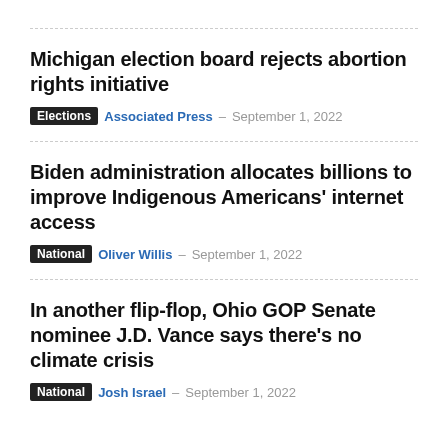Michigan election board rejects abortion rights initiative
Elections · Associated Press · September 1, 2022
Biden administration allocates billions to improve Indigenous Americans' internet access
National · Oliver Willis · September 1, 2022
In another flip-flop, Ohio GOP Senate nominee J.D. Vance says there's no climate crisis
National · Josh Israel · September 1, 2022